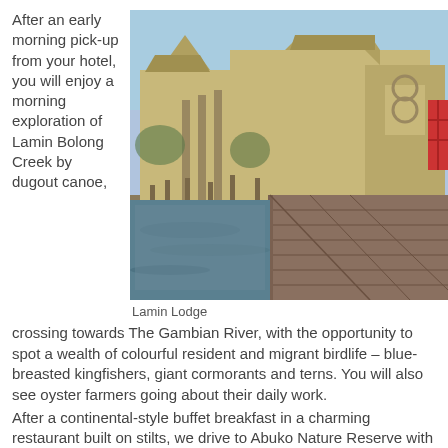After an early morning pick-up from your hotel, you will enjoy a morning exploration of Lamin Bolong Creek by dugout canoe, crossing towards The Gambian River, with the opportunity to spot a wealth of colourful resident and migrant birdlife – blue-breasted kingfishers, giant cormorants and terns. You will also see oyster farmers going about their daily work.
[Figure (photo): Photo of Lamin Lodge, a wooden stilt structure over water with a boardwalk leading to it, thatched roofs and multi-story buildings reflected in the water below.]
Lamin Lodge
After a continental-style buffet breakfast in a charming restaurant built on stilts, we drive to Abuko Nature Reserve with its rich wildlife.
This was the first area to be given protection in The Gambia purely to conserve its wildlife and the habitat is one of the rarest in the whole country, extremely rich in biodiversity, with many thousands of species of fungi, plants, trees, insects and invertebrates living in and